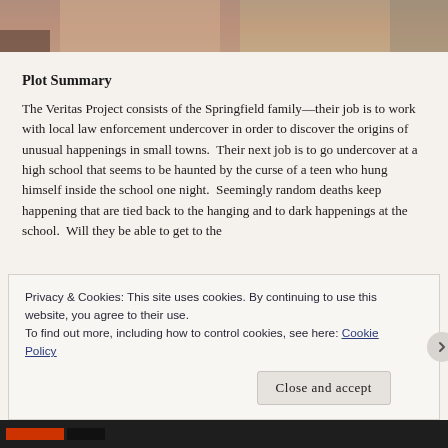[Figure (photo): Partial photo of a person, showing hair and shoulder, cropped at top of page]
Plot Summary
The Veritas Project consists of the Springfield family—their job is to work with local law enforcement undercover in order to discover the origins of unusual happenings in small towns.  Their next job is to go undercover at a high school that seems to be haunted by the curse of a teen who hung himself inside the school one night.  Seemingly random deaths keep happening that are tied back to the hanging and to dark happenings at the school.  Will they be able to get to the
Privacy & Cookies: This site uses cookies. By continuing to use this website, you agree to their use.
To find out more, including how to control cookies, see here: Cookie Policy
Close and accept